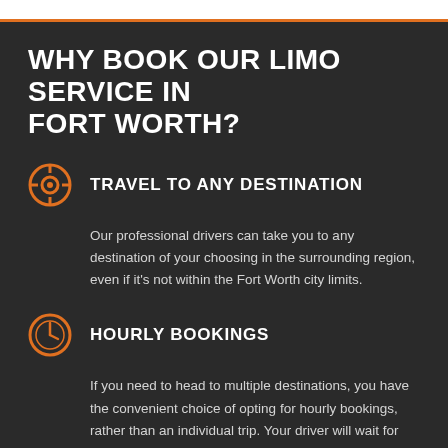WHY BOOK OUR LIMO SERVICE IN FORT WORTH?
TRAVEL TO ANY DESTINATION
Our professional drivers can take you to any destination of your choosing in the surrounding region, even if it's not within the Fort Worth city limits.
HOURLY BOOKINGS
If you need to head to multiple destinations, you have the convenient choice of opting for hourly bookings, rather than an individual trip. Your driver will wait for you between each trip.